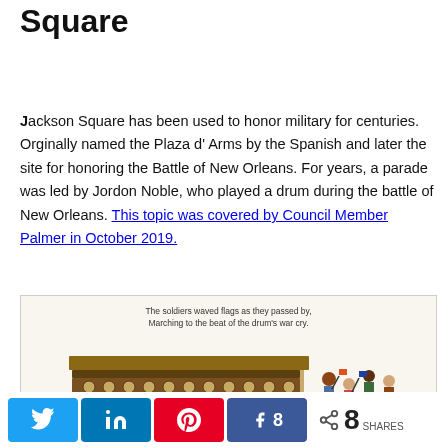Square
Jackson Square has been used to honor military for centuries. Orginally named the Plaza d' Arms by the Spanish and later the site for honoring the Battle of New Orleans. For years, a parade was led by Jordon Noble, who played a drum during the battle of New Orleans. This topic was covered by Council Member Palmer in October 2019.
[Figure (illustration): Illustration of a balcony/viewing stand with ornate ironwork railing. Below text reads: 'The soldiers waved flags as they passed by, Marching to the beat of the drum's war cry.' Crowd of people visible on and around the structure.]
Twitter share | LinkedIn share | Pinterest share | Facebook share 8 | < 8 SHARES